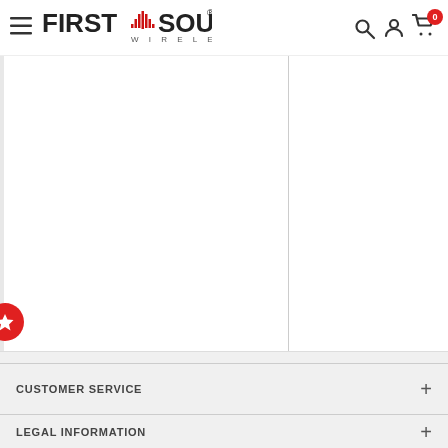First Source Wireless - navigation header with hamburger menu, logo, search, account, and cart icons
[Figure (logo): First Source Wireless logo with stylized wireless signal waveform in red between FIRST and SOURCE text, WIRELESS spelled out below]
[Figure (other): Red circular button with white star icon at bottom-left of product image panel]
CUSTOMER SERVICE
LEGAL INFORMATION